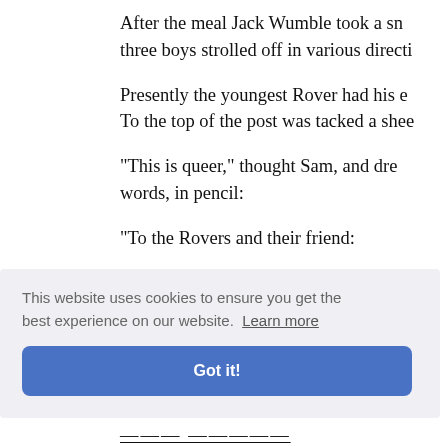After the meal Jack Wumble took a sn… three boys strolled off in various directi…
Presently the youngest Rover had his e… To the top of the post was tacked a shee…
"This is queer," thought Sam, and dre… words, in pencil:
"To the Rovers and their friend:
"If you want to keep out of trouble you … to Larkspur Creek it may cost you your… ne.
…OF THE
[Figure (screenshot): Cookie consent banner with text 'This website uses cookies to ensure you get the best experience on our website. Learn more' and a blue 'Got it!' button.]